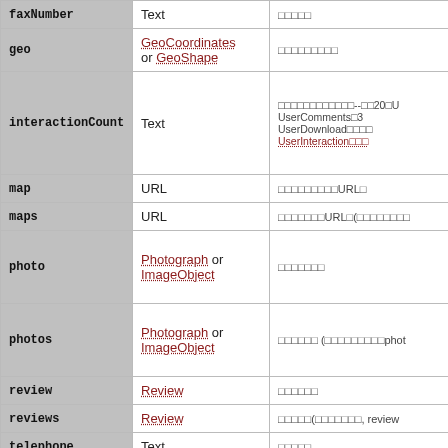| Property | Type | Description |
| --- | --- | --- |
| faxNumber | Text | □□□□□ |
| geo | GeoCoordinates or GeoShape | □□□□□□□□□ |
| interactionCount | Text | □□□□□□□□□□□□--□□20□U UserComments□3 UserDownload□□□□ UserInteraction□□□ |
| map | URL | □□□□□□□□□URL□ |
| maps | URL | □□□□□□□URL□(□□□□□□□□ |
| photo | Photograph or ImageObject | □□□□□□□ |
| photos | Photograph or ImageObject | □□□□□□ (□□□□□□□□□phot |
| review | Review | □□□□□□ |
| reviews | Review | □□□□□(□□□□□□□, review |
| telephone | Text | □□□□□ |
| contactPoint | ContactPoint | □□□□□□□□□□ |
| contactPoints | ContactPoint | □□□□□□□□□□(□□□□□□ |